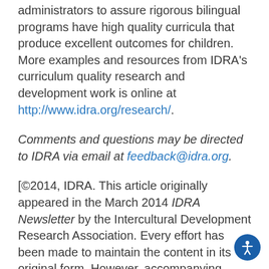administrators to assure rigorous bilingual programs have high quality curricula that produce excellent outcomes for children. More examples and resources from IDRA's curriculum quality research and development work is online at http://www.idra.org/research/.
Comments and questions may be directed to IDRA via email at feedback@idra.org.
[©2014, IDRA. This article originally appeared in the March 2014 IDRA Newsletter by the Intercultural Development Research Association. Every effort has been made to maintain the content in its original form. However, accompanying charts and graph…